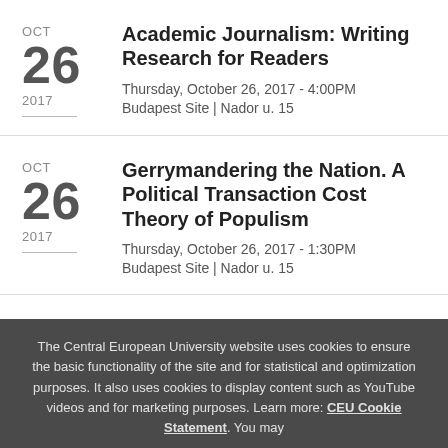Academic Journalism: Writing Research for Readers
Thursday, October 26, 2017 - 4:00PM
Budapest Site | Nador u. 15
Gerrymandering the Nation. A Political Transaction Cost Theory of Populism
Thursday, October 26, 2017 - 1:30PM
Budapest Site | Nador u. 15
The Central European University website uses cookies to ensure the basic functionality of the site and for statistical and optimization purposes. It also uses cookies to display content such as YouTube videos and for marketing purposes. Learn more: CEU Cookie Statement. You may